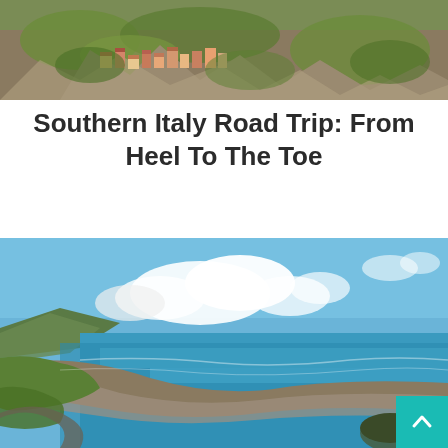[Figure (photo): Aerial view of a hillside Italian village with colorful buildings built into rocky cliffs surrounded by green vegetation]
Southern Italy Road Trip: From Heel To The Toe
[Figure (photo): Aerial coastal landscape view showing a curving sandy beach, turquoise ocean, green hillside and cloudy blue sky]